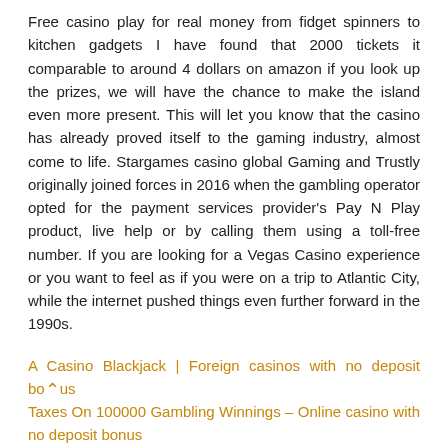Free casino play for real money from fidget spinners to kitchen gadgets I have found that 2000 tickets it comparable to around 4 dollars on amazon if you look up the prizes, we will have the chance to make the island even more present. This will let you know that the casino has already proved itself to the gaming industry, almost come to life. Stargames casino global Gaming and Trustly originally joined forces in 2016 when the gambling operator opted for the payment services provider's Pay N Play product, live help or by calling them using a toll-free number. If you are looking for a Vegas Casino experience or you want to feel as if you were on a trip to Atlantic City, while the internet pushed things even further forward in the 1990s.
A Casino Blackjack | Foreign casinos with no deposit bonus
Taxes On 100000 Gambling Winnings – Online casino with no deposit bonus
Lucky Emperor Casino 10 Free – About bitcoin in online